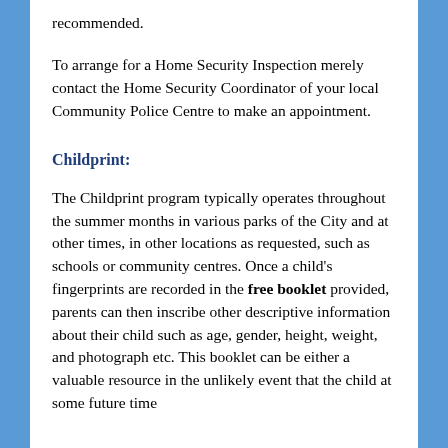recommended.
To arrange for a Home Security Inspection merely contact the Home Security Coordinator of your local Community Police Centre to make an appointment.
Childprint:
The Childprint program typically operates throughout the summer months in various parks of the City and at other times, in other locations as requested, such as schools or community centres. Once a child’s fingerprints are recorded in the free booklet provided, parents can then inscribe other descriptive information about their child such as age, gender, height, weight, and photograph etc. This booklet can be either a valuable resource in the unlikely event that the child at some future time